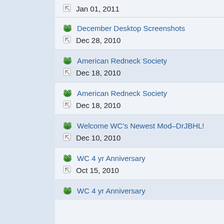Jan 01, 2011
December Desktop Screenshots
Dec 28, 2010
American Redneck Society
Dec 18, 2010
American Redneck Society
Dec 18, 2010
Welcome WC’s Newest Mod–DrJBHL!
Dec 10, 2010
WC 4 yr Anniversary
Oct 15, 2010
WC 4 yr Anniversary